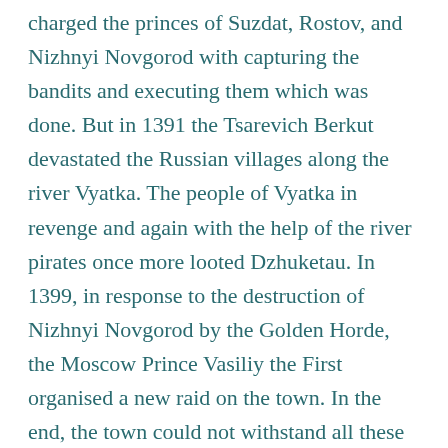charged the princes of Suzdat, Rostov, and Nizhnyi Novgorod with capturing the bandits and executing them which was done. But in 1391 the Tsarevich Berkut devastated the Russian villages along the river Vyatka. The people of Vyatka in revenge and again with the help of the river pirates once more looted Dzhuketau. In 1399, in response to the destruction of Nizhnyi Novgorod by the Golden Horde, the Moscow Prince Vasiliy the First organised a new raid on the town. In the end, the town could not withstand all these disasters and ceased to exist.